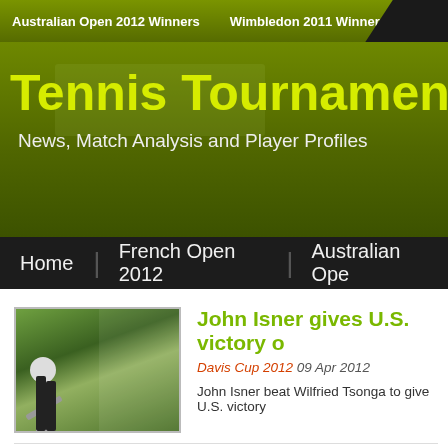Australian Open 2012 Winners   Wimbledon 2011 Winners
Tennis Tournaments
News, Match Analysis and Player Profiles
Home | French Open 2012 | Australian Ope
[Figure (photo): Tennis player John Isner in action on a clay court, mid-swing with racket]
John Isner gives U.S. victory o
Davis Cup 2012  09 Apr 2012
John Isner beat Wilfried Tsonga to give U.S. victory